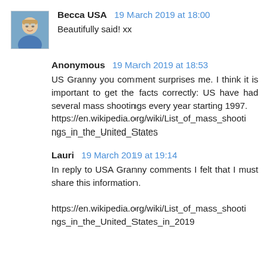Becca USA  19 March 2019 at 18:00
Beautifully said! xx
Anonymous  19 March 2019 at 18:53
US Granny you comment surprises me. I think it is important to get the facts correctly: US have had several mass shootings every year starting 1997.
https://en.wikipedia.org/wiki/List_of_mass_shootings_in_the_United_States
Lauri  19 March 2019 at 19:14
In reply to USA Granny comments I felt that I must share this information.
https://en.wikipedia.org/wiki/List_of_mass_shootings_in_the_United_States_in_2019